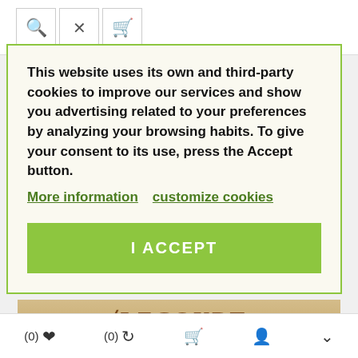[Figure (screenshot): Top bar with search, compare, and cart icon buttons]
[Figure (other): Five grey star rating icons]
This website uses its own and third-party cookies to improve our services and show you advertising related to your preferences by analyzing your browsing habits. To give your consent to its use, press the Accept button.
More information   customize cookies
[Figure (other): Green I ACCEPT button]
[Figure (photo): Partial wine bottle label showing VILECOURT and Cuvée Mo...]
[Figure (other): Bottom navigation bar with (0) heart, (0) refresh, cart, person, and up arrow icons]